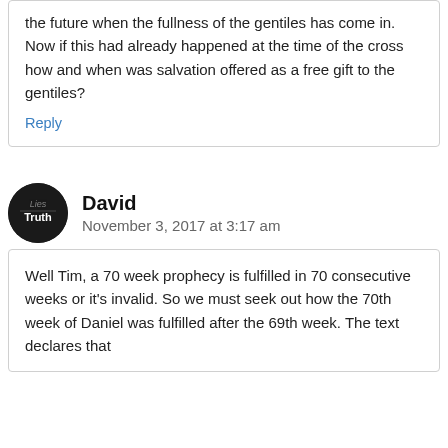the future when the fullness of the gentiles has come in. Now if this had already happened at the time of the cross how and when was salvation offered as a free gift to the gentiles?
Reply
David
November 3, 2017 at 3:17 am
Well Tim, a 70 week prophecy is fulfilled in 70 consecutive weeks or it's invalid. So we must seek out how the 70th week of Daniel was fulfilled after the 69th week. The text declares that